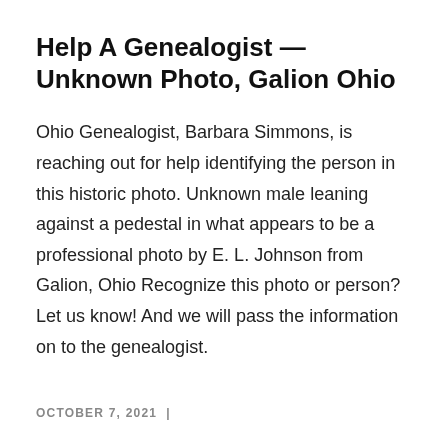Help A Genealogist — Unknown Photo, Galion Ohio
Ohio Genealogist, Barbara Simmons, is reaching out for help identifying the person in this historic photo. Unknown male leaning against a pedestal in what appears to be a professional photo by E. L. Johnson from Galion, Ohio Recognize this photo or person? Let us know! And we will pass the information on to the genealogist.
OCTOBER 7, 2021  |